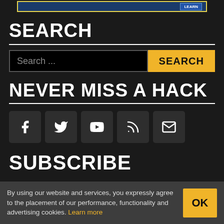[Figure (screenshot): Banner advertisement at top of page with blue background and yellow border]
SEARCH
[Figure (screenshot): Search input field with placeholder text 'Search ...' and yellow SEARCH button]
NEVER MISS A HACK
[Figure (infographic): Social media icons: Facebook, Twitter, YouTube, RSS, Email]
SUBSCRIBE
By using our website and services, you expressly agree to the placement of our performance, functionality and advertising cookies. Learn more